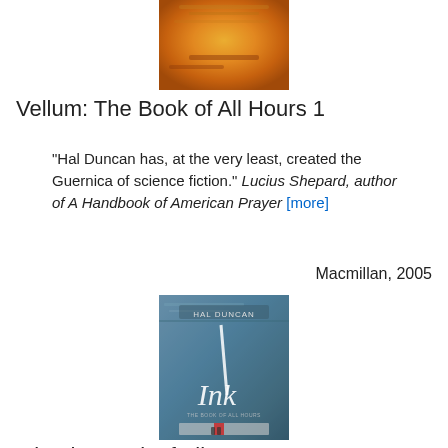[Figure (photo): Book cover of Vellum: The Book of All Hours 1 — orange and yellow textured background]
Vellum: The Book of All Hours 1
"Hal Duncan has, at the very least, created the Guernica of science fiction." Lucius Shepard, author of A Handbook of American Prayer [more]
Macmillan, 2005
[Figure (photo): Book cover of Ink: The Book of All Hours 2 — blue/grey distressed texture with white handwritten-style text reading 'Ink', author name HAL DUNCAN at top]
Ink: The Book of All Hours 2